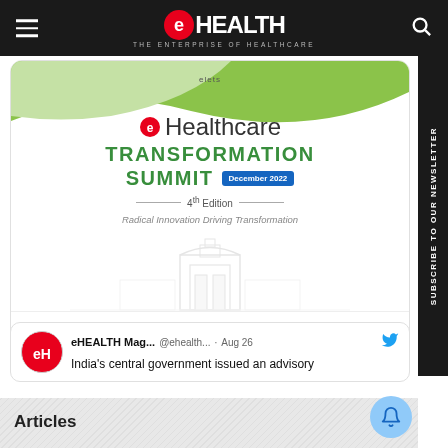eHEALTH — THE ENTERPRISE OF HEALTHCARE
[Figure (illustration): elets Healthcare Transformation Summit December 2022 4th Edition event banner with green wave top, city skyline watermark, subtitle: Radical Innovation Driving Transformation]
India's central government issued an advisory
eHEALTH Mag... @ehealth... · Aug 26
Articles